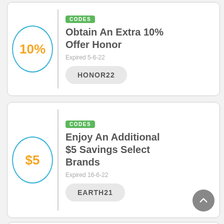[Figure (infographic): Coupon card 1: 10% off badge in orange inside blue circle, CODES label in green, title 'Obtain An Extra 10% Offer Honor', expired 5-6-22, code button HONOR22]
[Figure (infographic): Coupon card 2: $5 off badge in orange inside blue circle, CODES label in green, title 'Enjoy An Additional $5 Savings Select Brands', expired 16-6-22, code button EARTH21]
[Figure (infographic): Coupon card 3 partial: DEALS label in green, partial title visible 'Deals...']